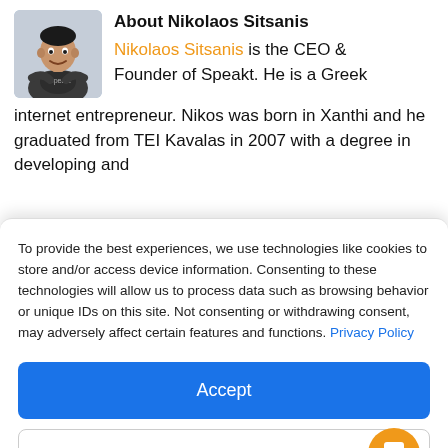About Nikolaos Sitsanis
[Figure (photo): Photo of Nikolaos Sitsanis, a man in a dark t-shirt with arms crossed, smiling]
Nikolaos Sitsanis is the CEO & Founder of Speakt. He is a Greek internet entrepreneur. Nikos was born in Xanthi and he graduated from TEI Kavalas in 2007 with a degree in developing and
To provide the best experiences, we use technologies like cookies to store and/or access device information. Consenting to these technologies will allow us to process data such as browsing behavior or unique IDs on this site. Not consenting or withdrawing consent, may adversely affect certain features and functions. Privacy Policy
Accept
View preferences